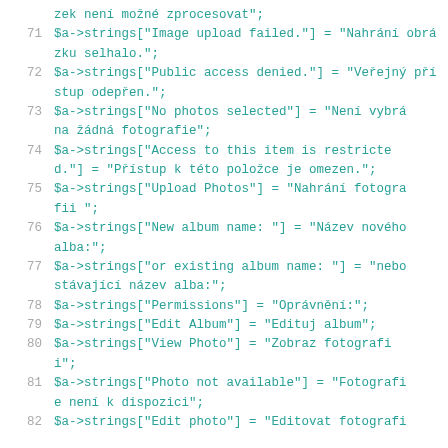Code listing lines 71-82 showing PHP string assignments for a localization file
line continuation: zek není možné zprocesovat";
71  $a->strings["Image upload failed."] = "Nahrání obrázku selhalo.";
72  $a->strings["Public access denied."] = "Veřejný přístup odepřen.";
73  $a->strings["No photos selected"] = "Není vybrána žádná fotografie";
74  $a->strings["Access to this item is restricted."] = "Přístup k této položce je omezen.";
75  $a->strings["Upload Photos"] = "Nahrání fotografii ";
76  $a->strings["New album name: "] = "Název nového alba:";
77  $a->strings["or existing album name: "] = "nebo stávající název alba:";
78  $a->strings["Permissions"] = "Oprávnění:";
79  $a->strings["Edit Album"] = "Edituj album";
80  $a->strings["View Photo"] = "Zobraz fotografii";
81  $a->strings["Photo not available"] = "Fotografie není k dispozici";
82  $a->strings["Edit photo"] = "Editovat fotografi